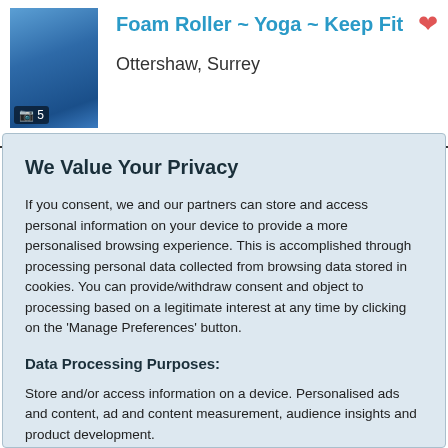Foam Roller ~ Yoga ~ Keep Fit
Ottershaw, Surrey
We Value Your Privacy
If you consent, we and our partners can store and access personal information on your device to provide a more personalised browsing experience. This is accomplished through processing personal data collected from browsing data stored in cookies. You can provide/withdraw consent and object to processing based on a legitimate interest at any time by clicking on the 'Manage Preferences' button.
Data Processing Purposes:
Store and/or access information on a device. Personalised ads and content, ad and content measurement, audience insights and product development.
List of Partners (vendors)
Accept
Manage your privacy settings